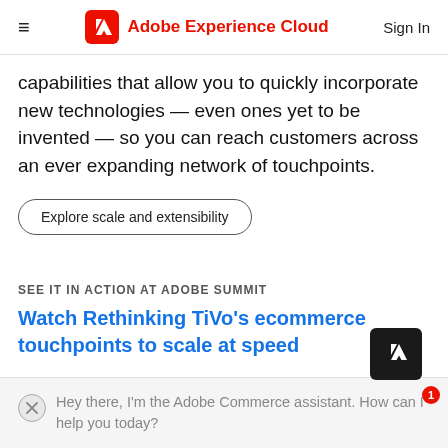Adobe Experience Cloud | Sign In
capabilities that allow you to quickly incorporate new technologies — even ones yet to be invented — so you can reach customers across an ever expanding network of touchpoints.
Explore scale and extensibility
SEE IT IN ACTION AT ADOBE SUMMIT
Watch Rethinking TiVo's ecommerce touchpoints to scale at speed
Hey there, I'm the Adobe Commerce assistant. How can I help you today?